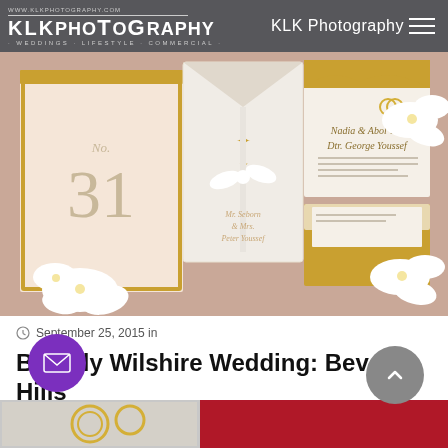KLK PHOTOGRAPHY · WEDDINGS · LIFESTYLE · COMMERCIAL · KLK Photography
[Figure (photo): Flat lay of elegant gold and white wedding invitation suite with orchid flowers, ribbon bow, and wedding rings on pink fabric background]
September 25, 2015 in
Beverly Wilshire Wedding: Beverly Hills Wedding Photographer KLK Photography
[Figure (photo): Bottom strip showing sparkly shoes and wedding rings — partial view]